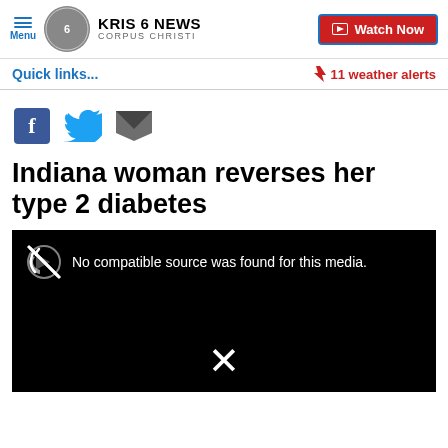KRIS 6 NEWS CORPUS CHRISTI | Watch Now
Quick links...
⚡ 11 weather alerts
[Figure (screenshot): Social share icons: Facebook, Twitter, Email]
Indiana woman reverses her type 2 diabetes
[Figure (screenshot): Video player showing error: No compatible source was found for this media. with a muted speaker icon and an X close button.]